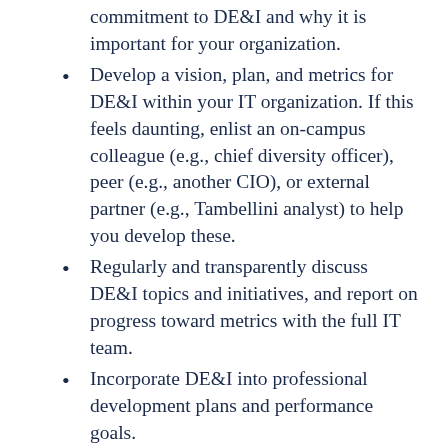commitment to DE&I and why it is important for your organization.
Develop a vision, plan, and metrics for DE&I within your IT organization. If this feels daunting, enlist an on-campus colleague (e.g., chief diversity officer), peer (e.g., another CIO), or external partner (e.g., Tambellini analyst) to help you develop these.
Regularly and transparently discuss DE&I topics and initiatives, and report on progress toward metrics with the full IT team.
Incorporate DE&I into professional development plans and performance goals.
There are many great resources for advancing your–and your team's–understanding of DE&I, but I thought I would leave you with a few of my